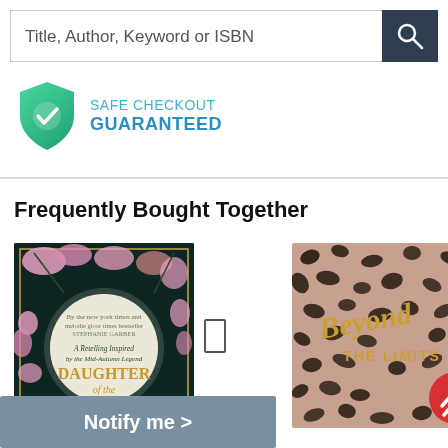[Figure (screenshot): Search bar with placeholder text 'Title, Author, Keyword or ISBN' and a dark search button with magnifying glass icon]
[Figure (logo): Safe Checkout Guaranteed badge - green shield with checkmark and text 'SAFE CHECKOUT GUARANTEED']
Frequently Bought Together
[Figure (photo): Book cover: Daughter of the Moon Goddess - dark floral cover with pink flowers and gold title text]
[Figure (photo): Book cover: Beyond the Limits - leopard print cover with gold cursive title text]
Notify me >